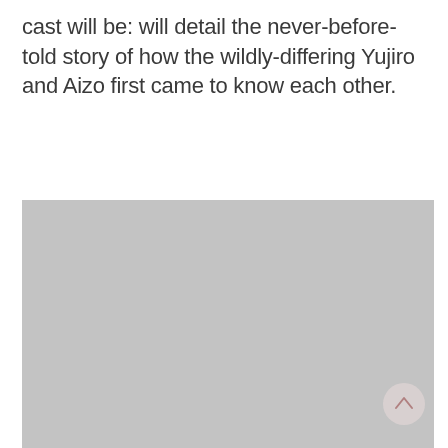cast will be: will detail the never-before-told story of how the wildly-differing Yujiro and Aizo first came to know each other.
[Figure (photo): Large grey placeholder image occupying the lower portion of the page, with a scroll-to-top button in the bottom-right corner.]